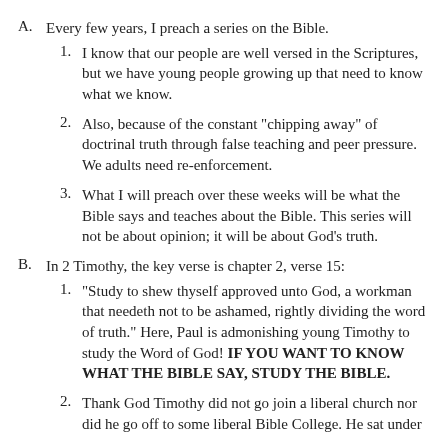A.  Every few years, I preach a series on the Bible.
1.  I know that our people are well versed in the Scriptures, but we have young people growing up that need to know what we know.
2.  Also, because of the constant "chipping away" of doctrinal truth through false teaching and peer pressure. We adults need re-enforcement.
3.  What I will preach over these weeks will be what the Bible says and teaches about the Bible.  This series will not be about opinion; it will be about God's truth.
B.  In 2 Timothy, the key verse is chapter 2, verse 15:
1.  "Study to shew thyself approved unto God, a workman that needeth not to be ashamed, rightly dividing the word of truth."  Here, Paul is admonishing young Timothy to study the Word of God!  IF YOU WANT TO KNOW WHAT THE BIBLE SAY, STUDY THE BIBLE.
2.  Thank God Timothy did not go join a liberal church nor did he go off to some liberal Bible College.  He sat under